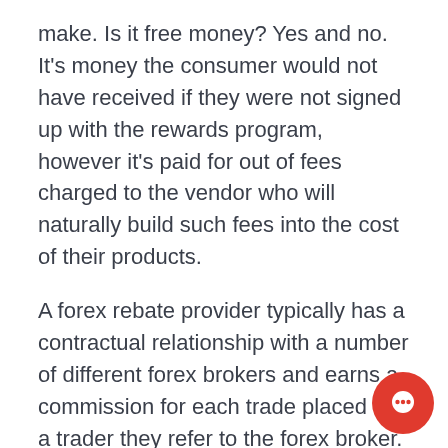make. Is it free money? Yes and no. It's money the consumer would not have received if they were not signed up with the rewards program, however it's paid for out of fees charged to the vendor who will naturally build such fees into the cost of their products.
A forex rebate provider typically has a contractual relationship with a number of different forex brokers and earns a commission for each trade placed by a trader they refer to the forex broker. The marketing benefits afforded to forex brokers by such a system are substantial, from actual referred clients to branding, added search engine visibility, etc. The rebate provider then pays the client a cash rebate from the commission they earn from the forex broker.